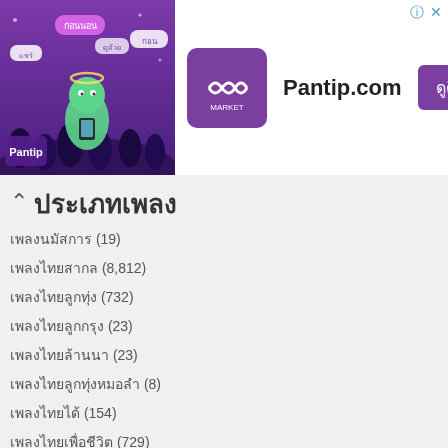[Figure (screenshot): Pantip.com advertisement banner with purple illustrated background on left and Pantip logo, text 'Pantip.com', and a purple button on the right]
ประเภทเพลง
เพลงนมัสการ (19)
เพลงไทยสากล (8,812)
เพลงไทยลูกทุ่ง (732)
เพลงไทยลูกกรุง (23)
เพลงไทยล้านนา (23)
เพลงไทยลูกทุ่งหมอลำ (8)
เพลงไทยได้ (154)
เพลงไทยเพื่อชีวิต (729)
เพลงสากล (316)
เพลงอินดี้ (29)
เพลงแต่งเอง (40)